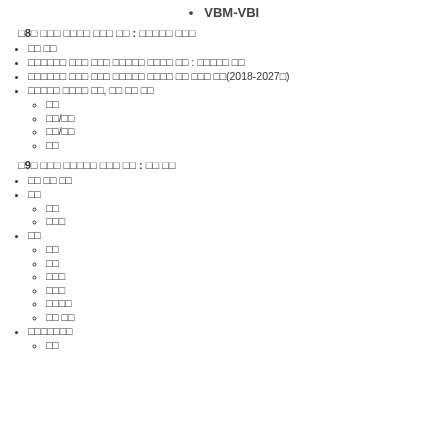VBM-VBI
□8□ □□□ □□□□ □□□ □□ : □□□□□ □□□
□□ □□
□□□□□□ □□□ □□□ □□□□□ □□□□ □□ : □□□□□ □□
□□□□□□ □□□ □□□ □□□□□ □□□□ □□ □□□ □□(2018-2027□)
□□□□□ □□□□ □□, □□ □□ □□
□□
□□/□□
□□/□□
□□
□9□ □□□ □□□□□ □□□ □□ : □□ □□
□□ □□ □□
□□
□□
□□□
□□
□□
□□
□□
□□□
□□□
□□□□
□□ □□
□□□□□□□
□□